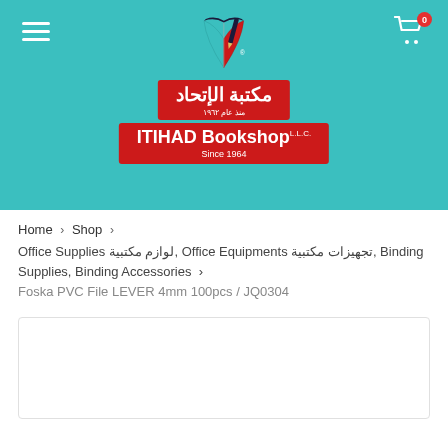[Figure (logo): Itihad Bookshop logo with open book icon above Arabic and English name plates on teal background]
Home > Shop >
Office Supplies لوازم مكتبية, Office Equipments تجهيزات مكتبية, Binding Supplies, Binding Accessories >
Foska PVC File LEVER 4mm 100pcs / JQ0304
[Figure (photo): Product image placeholder (empty white box with border)]